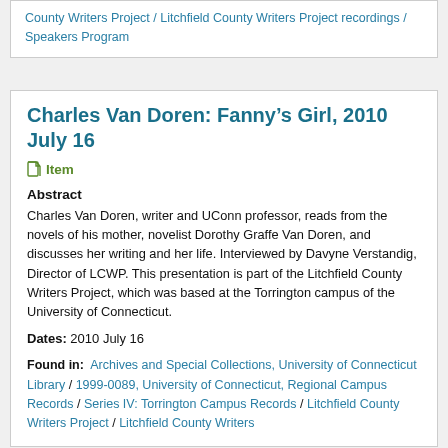County Writers Project / Litchfield County Writers Project recordings / Speakers Program
Charles Van Doren: Fanny's Girl, 2010 July 16
Item
Abstract
Charles Van Doren, writer and UConn professor, reads from the novels of his mother, novelist Dorothy Graffe Van Doren, and discusses her writing and her life. Interviewed by Davyne Verstandig, Director of LCWP. This presentation is part of the Litchfield County Writers Project, which was based at the Torrington campus of the University of Connecticut.
Dates: 2010 July 16
Found in: Archives and Special Collections, University of Connecticut Library / 1999-0089, University of Connecticut, Regional Campus Records / Series IV: Torrington Campus Records / Litchfield County Writers Project / Litchfield County Writers